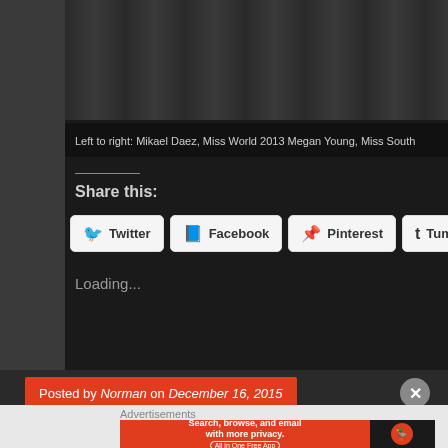[Figure (photo): Partial photo showing people in dark clothing, bottom portion visible. Caption: Left to right: Mikael Daez, Miss World 2013 Megan Young, Miss South...]
Left to right: Mikael Daez, Miss World 2013 Megan Young, Miss South
Share this:
Twitter
Facebook
Pinterest
Tumblr
Email
Loading...
Posted by Norman on December 16, 2015
Advertisements
[Figure (screenshot): DuckDuckGo advertisement banner: Search, browse, and email with more privacy. All in One Free App. DuckDuckGo logo on right.]